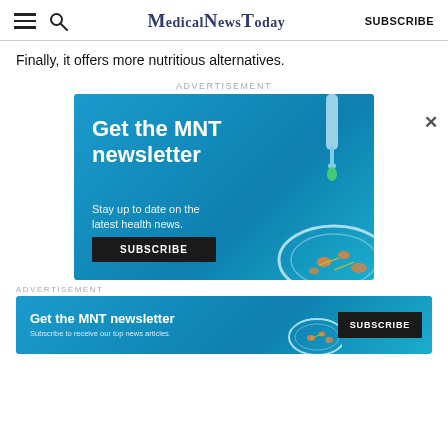MedicalNewsToday — SUBSCRIBE
Finally, it offers more nutritious alternatives.
ADVERTISEMENT
[Figure (other): MNT newsletter advertisement banner with dropper and petri dish illustration. Text: 'Get the MNT newsletter', 'Stay up to date on the latest health news.', 'SUBSCRIBE' button.]
ADVERTISEMENT
[Figure (other): Bottom MNT newsletter advertisement banner. Text: 'Get the MNT newsletter', 'Subscribe to receive our top news articles.', 'SUBSCRIBE' button.]